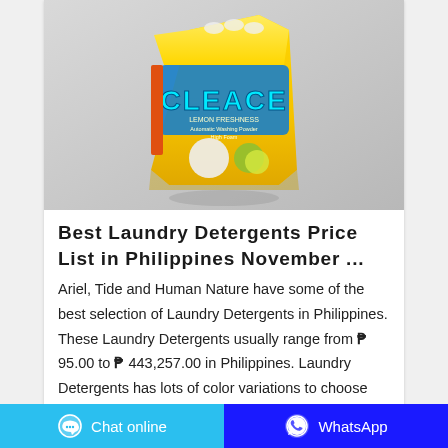[Figure (photo): Yellow bag of Cleace Lemon Freshness laundry detergent powder on a gray background]
Best Laundry Detergents Price List in Philippines November ...
Ariel, Tide and Human Nature have some of the best selection of Laundry Detergents in Philippines. These Laundry Detergents usually range from ₱ 95.00 to ₱ 443,257.00 in Philippines. Laundry Detergents has lots of color variations to choose from including Yellow, White and Silver. For as much as 80% off, you can get the best deal
Chat online   WhatsApp